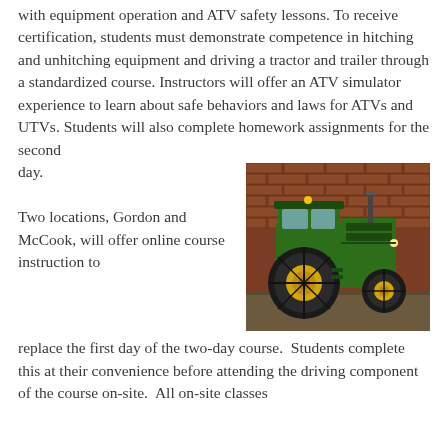with equipment operation and ATV safety lessons. To receive certification, students must demonstrate competence in hitching and unhitching equipment and driving a tractor and trailer through a standardized course. Instructors will offer an ATV simulator experience to learn about safe behaviors and laws for ATVs and UTVs. Students will also complete homework assignments for the second day.
[Figure (photo): A green and yellow John Deere tractor parked in front of a red brick wall.]
Two locations, Gordon and McCook, will offer online course instruction to replace the first day of the two-day course. Students complete this at their convenience before attending the driving component of the course on-site. All on-site classes